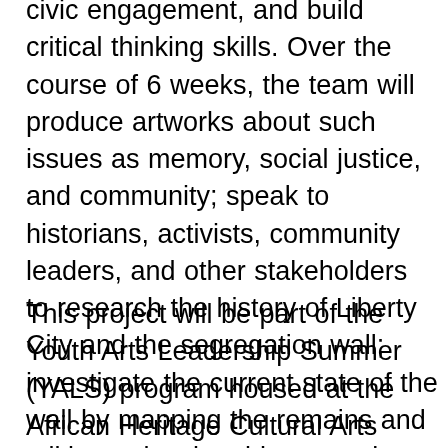civic engagement, and build critical thinking skills. Over the course of 6 weeks, the team will produce artworks about such issues as memory, social justice, and community; speak to historians, activists, community leaders, and other stakeholders to research the history of Liberty City and the segregation wall; investigate the current state of the wall by mapping the remains and talking to local residents; and co-design a memorial for the site that will be presented to the Miami-Dade County Art in Public Places Commission.
This project will be part of the Youth Arts Leadership Summer (YALS) program housed at the African Heritage Cultural Arts Center in Liberty City. The YALS program immerses young artists from the Liberty City area in a series of art intensives led by different practicing artists. Other committed partners include Arts for Learning and the